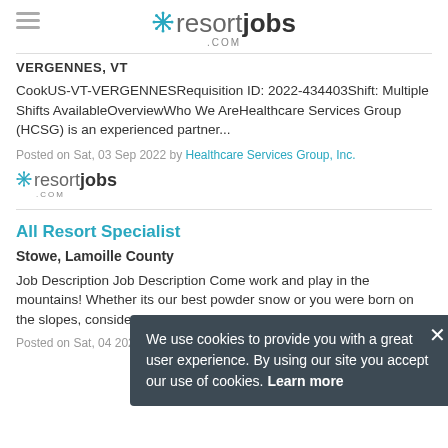resortjobs.com
VERGENNES, VT
CookUS-VT-VERGENNESRequisition ID: 2022-434403Shift: Multiple Shifts AvailableOverviewWho We AreHealthcare Services Group (HCSG) is an experienced partner...
Posted on Sat, 03 Sep 2022 by Healthcare Services Group, Inc.
[Figure (logo): resortjobs.com logo (small)]
All Resort Specialist
Stowe, Lamoille County
Job Description Job Description Come work and play in the mountains! Whether its your first time seeing snow or you were born on the slopes, consider joining...
Posted on Sat, 04 (2022) by Stowe Mountain Resort
We use cookies to provide you with a great user experience. By using our site you accept our use of cookies. Learn more